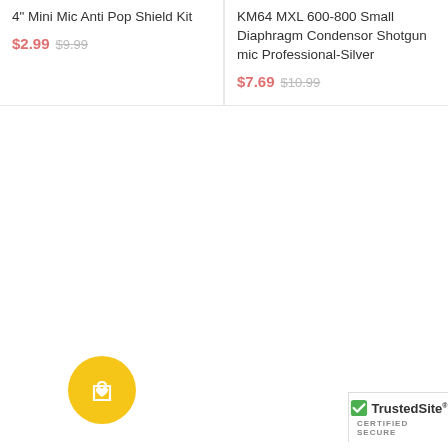4" Mini Mic Anti Pop Shield Kit
$2.99  $9.99
KM64 MXL 600-800 Small Diaphragm Condensor Shotgun mic Professional-Silver
$7.69  $10.99
[Figure (illustration): Yellow circular wishlist button with shopping bag and heart icon]
[Figure (logo): TrustedSite CERTIFIED SECURE badge with green checkmark]